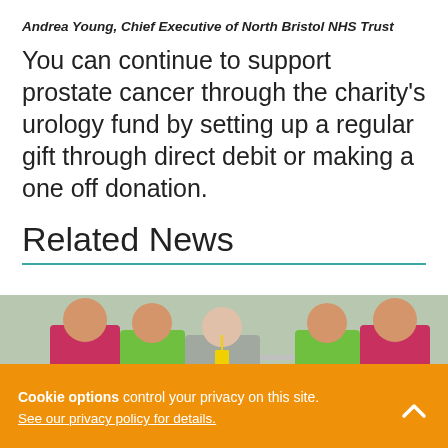Andrea Young, Chief Executive of North Bristol NHS Trust
You can continue to support prostate cancer through the charity's urology fund by setting up a regular gift through direct debit or making a one off donation.
Related News
[Figure (photo): Group of people in coloured t-shirts (pink and green) standing outdoors behind two blue chairs with metal frames, likely outdoor exercise equipment]
Cookie options control your privacy on this site. See our privacy policy for details.